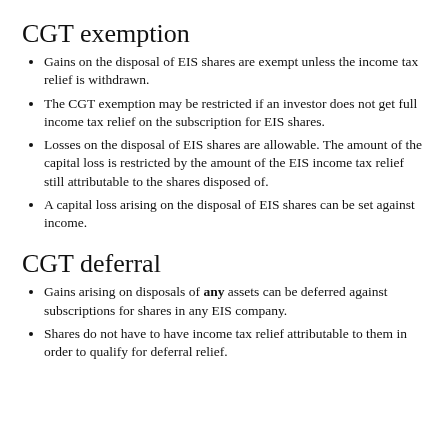CGT exemption
Gains on the disposal of EIS shares are exempt unless the income tax relief is withdrawn.
The CGT exemption may be restricted if an investor does not get full income tax relief on the subscription for EIS shares.
Losses on the disposal of EIS shares are allowable. The amount of the capital loss is restricted by the amount of the EIS income tax relief still attributable to the shares disposed of.
A capital loss arising on the disposal of EIS shares can be set against income.
CGT deferral
Gains arising on disposals of any assets can be deferred against subscriptions for shares in any EIS company.
Shares do not have to have income tax relief attributable to them in order to qualify for deferral relief.